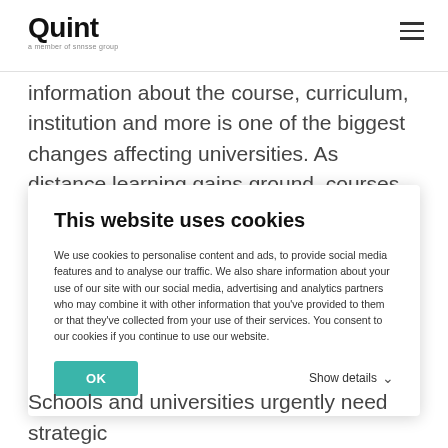Quint — a member of snnsse group
information about the course, curriculum, institution and more is one of the biggest changes affecting universities. As distance learning gains ground, courses are increasinaly untethered by location
This website uses cookies
We use cookies to personalise content and ads, to provide social media features and to analyse our traffic. We also share information about your use of our site with our social media, advertising and analytics partners who may combine it with other information that you've provided to them or that they've collected from your use of their services. You consent to our cookies if you continue to use our website.
OK
Show details
Schools and universities urgently need strategic